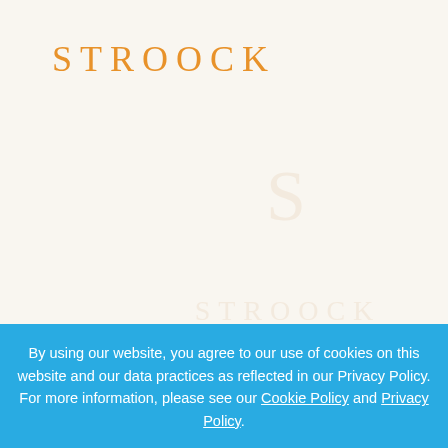[Figure (logo): STROOCK law firm logo in orange serif text with letter-spacing]
[Figure (illustration): Faint watermark of the STROOCK logo/icon in the background, very low opacity]
By using our website, you agree to our use of cookies on this website and our data practices as reflected in our Privacy Policy. For more information, please see our Cookie Policy and Privacy Policy.